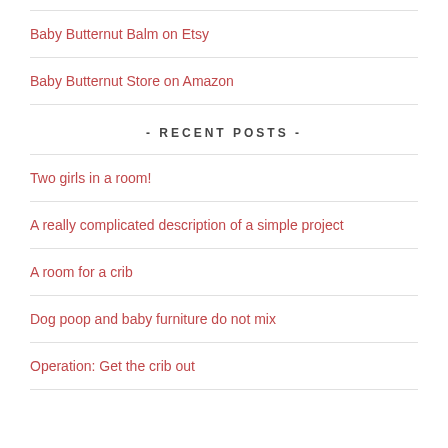Baby Butternut Balm on Etsy
Baby Butternut Store on Amazon
- RECENT POSTS -
Two girls in a room!
A really complicated description of a simple project
A room for a crib
Dog poop and baby furniture do not mix
Operation: Get the crib out